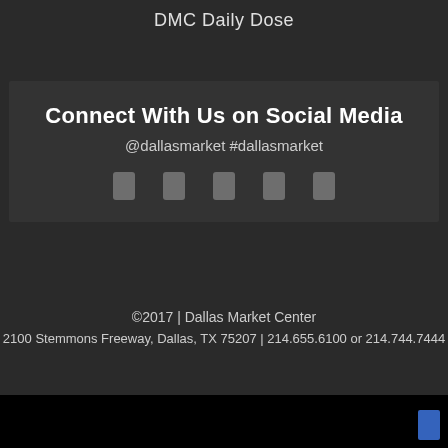DMC Daily Dose
Connect With Us on Social Media
@dallasmarket #dallasmarket
[Figure (other): Five social media icon placeholders (Facebook, Twitter, Instagram, Pinterest, YouTube or similar)]
©2017 | Dallas Market Center
2100 Stemmons Freeway, Dallas, TX 75207 | 214.655.6100 or 214.744.7444